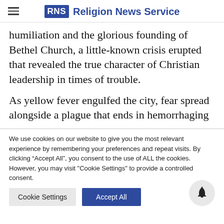RNS Religion News Service
humiliation and the glorious founding of Bethel Church, a little-known crisis erupted that revealed the true character of Christian leadership in times of trouble.
As yellow fever engulfed the city, fear spread alongside a plague that ends in hemorrhaging
We use cookies on our website to give you the most relevant experience by remembering your preferences and repeat visits. By clicking “Accept All”, you consent to the use of ALL the cookies. However, you may visit "Cookie Settings" to provide a controlled consent.